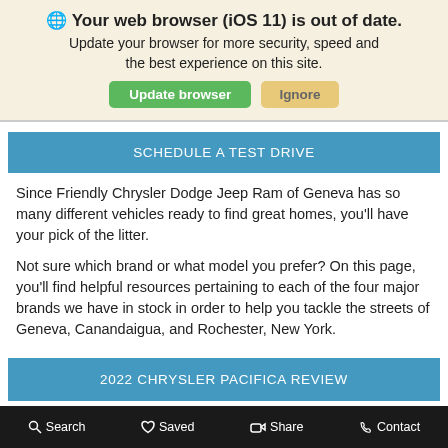🌐 Your web browser (iOS 11) is out of date. Update your browser for more security, speed and the best experience on this site. Update browser | Ignore
SCHEDULE A TEST DRIVE
Since Friendly Chrysler Dodge Jeep Ram of Geneva has so many different vehicles ready to find great homes, you'll have your pick of the litter.
Not sure which brand or what model you prefer? On this page, you'll find helpful resources pertaining to each of the four major brands we have in stock in order to help you tackle the streets of Geneva, Canandaigua, and Rochester, New York.
2022 CHRYSLER PACIFICA REVIEW
2022 CHRYSLER PACIFICA HYBRID REVIEW
Search | Saved | Share | Contact